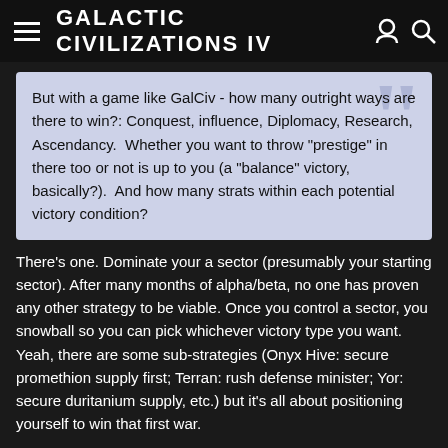Galactic Civilizations IV
But with a game like GalCiv - how many outright ways are there to win?: Conquest, influence, Diplomacy, Research, Ascendancy.  Whether you want to throw "prestige" in there too or not is up to you (a "balance" victory, basically?).  And how many strats within each potential victory condition?
There's one. Dominate your a sector (presumably your starting sector). After many months of alpha/beta, no one has proven any other strategy to be viable. Once you control a sector, you snowball so you can pick whichever victory type you want. Yeah, there are some sub-strategies (Onyx Hive: secure promethion supply first; Terran: rush defense minister; Yor: secure duritanium supply, etc.) but it's all about positioning yourself to win that first war.